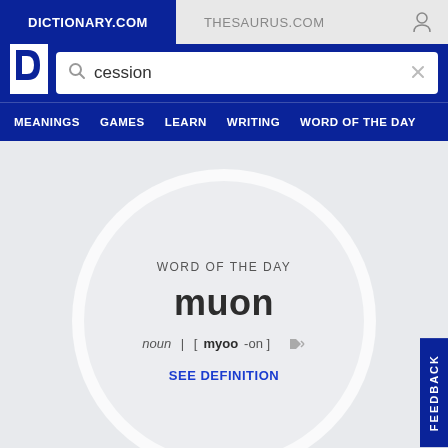DICTIONARY.COM | THESAURUS.COM
[Figure (screenshot): Dictionary.com logo with white D letter on navy background]
cession (search query)
MEANINGS   GAMES   LEARN   WRITING   WORD OF THE DAY
WORD OF THE DAY
muon
noun | [myoo-on]
SEE DEFINITION